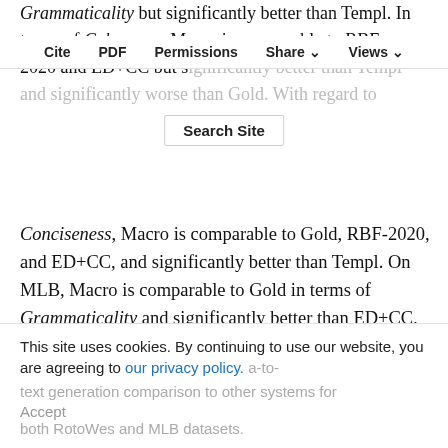Grammaticality but significantly better than Templ. In terms of Coherence, Macro is comparable to RBF-2020 and ED+CC but significantly better than Templ and significantly worse than Gold. With regard to Conciseness, Macro is comparable to Gold, RBF-2020, and ED+CC, and significantly better than Templ. On MLB, Macro is comparable to Gold in terms of Grammaticality and significantly better than ED+CC, ENT, and Templ. Macro is comparable to Gold in terms of Coherence and significantly better than ED+CC, ENT and Templ. In terms of Conciseness, raters found Macro comparable to Gold and Templ and significantly better than ED+CC and ENT. Taken together, our results show
Cite   PDF   Permissions   Share   Views
Search Site
This site uses cookies. By continuing to use our website, you are agreeing to our privacy policy. Accept
text generation comparison to other systems for both RotoWes and MLB datasets.